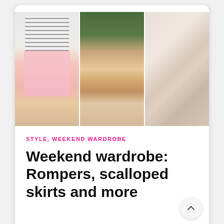[Figure (photo): Three fashion photos side by side: left shows woman in striped crop top and pink scalloped skirt, center shows blonde woman with blue mirrored sunglasses and off-shoulder top, right shows a beige/blush romper flatlay]
STYLE, WEEKEND WARDROBE
Weekend wardrobe: Rompers, scalloped skirts and more